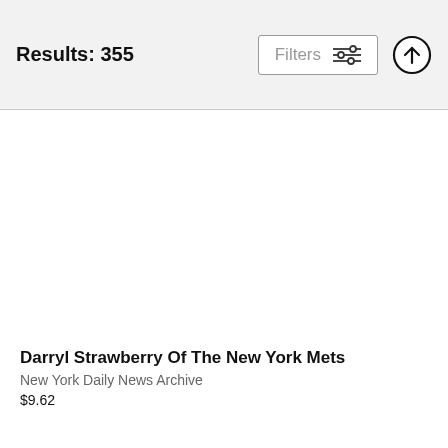Results: 355
[Figure (screenshot): Filters button with slider icon]
[Figure (other): Upload/scroll-to-top circle arrow button]
Darryl Strawberry Of The New York Mets
New York Daily News Archive
$9.62